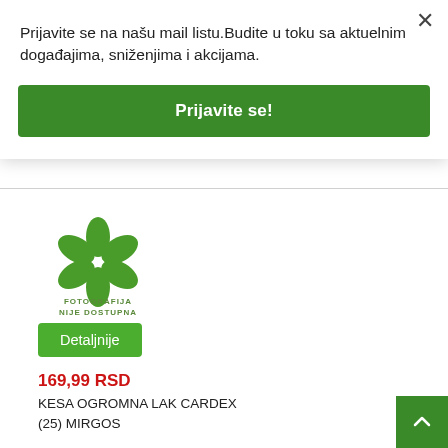Prijavite se na našu mail listu.Budite u toku sa aktuelnim događajima, sniženjima i akcijama.
Prijavite se!
[Figure (logo): Flower/leaf logo placeholder with text FOTOGRAFIJA NIJE DOSTUPNA]
Detaljnije
169,99 RSD
KESA OGROMNA LAK CARDEX (25) MIRGOS